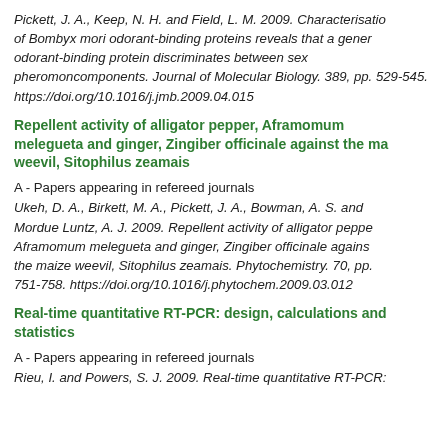Pickett, J. A., Keep, N. H. and Field, L. M. 2009. Characterisation of Bombyx mori odorant-binding proteins reveals that a general odorant-binding protein discriminates between sex pheromone components. Journal of Molecular Biology. 389, pp. 529-545. https://doi.org/10.1016/j.jmb.2009.04.015
Repellent activity of alligator pepper, Aframomum melegueta and ginger, Zingiber officinale against the maize weevil, Sitophilus zeamais
A - Papers appearing in refereed journals
Ukeh, D. A., Birkett, M. A., Pickett, J. A., Bowman, A. S. and Mordue Luntz, A. J. 2009. Repellent activity of alligator pepper, Aframomum melegueta and ginger, Zingiber officinale against the maize weevil, Sitophilus zeamais. Phytochemistry. 70, pp. 751-758. https://doi.org/10.1016/j.phytochem.2009.03.012
Real-time quantitative RT-PCR: design, calculations and statistics
A - Papers appearing in refereed journals
Rieu, I. and Powers, S. J. 2009. Real-time quantitative RT-PCR: